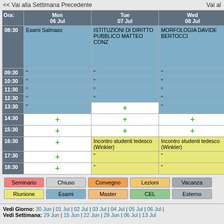<< Vai alla Settimana Precedente    Vai al
| Ora: | Mon 06 Jul | Tue 07 Jul | Wed 08 Jul |
| --- | --- | --- | --- |
| 08:30 | Esami Salmaso | ISTITUZIONI DI DIRITTO PUBBLICO MATTEO CONZ | MORFOLOGIA DAVIDE BERTOCCI |
| 09:30 | " | " | " |
| 10:30 | " | " | " |
| 11:30 | " | " | " |
| 12:30 | " | " | " |
| 13:30 | " | + | " |
| 14:30 | + | + | + |
| 15:30 | + | + | + |
| 16:30 | + | Incontro studenti tedesco (Winkler) | Incontro studenti tedesco (Winkler) |
| 17:30 | + | " | " |
| 18:30 | + | " | " |
Seminario | Chiuso | Convegno | Lezioni | Vacanza | Riunione | Esami | Master | CEL | Esterno
Vedi Giorno: 30 Jun | 01 Jul | 02 Jul | 03 Jul | 04 Jul | 05 Jul | 06 Jul | Vedi Settimana: 29 Jun | 15 Jun | 22 Jun | 29 Jun | 06 Jul | 13 Jul